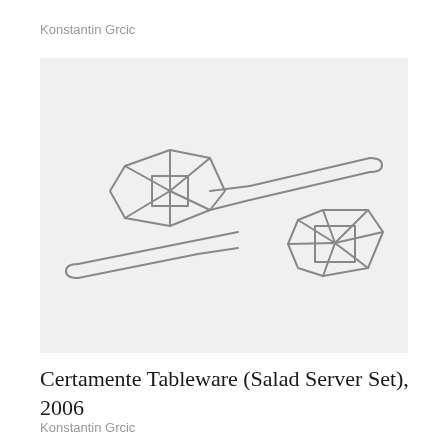Konstantin Grcic
[Figure (photo): Two wire-frame salad servers made from bent stainless steel wire, forming geometric angular heads resembling stylized spoon/spatula shapes, photographed on a light gray background.]
Certamente Tableware (Salad Server Set), 2006
Konstantin Grcic